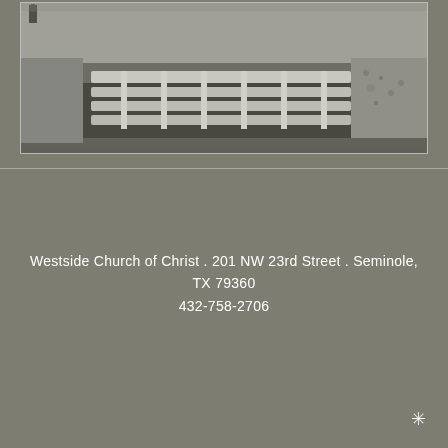[Figure (photo): Black and white photograph showing construction site with concrete beams/pipes laid in rows and a trench or foundation structure visible from above. Framed with a thin border.]
Westside Church of Christ . 201 NW 23rd Street . Seminole, TX 79360
432-758-2706